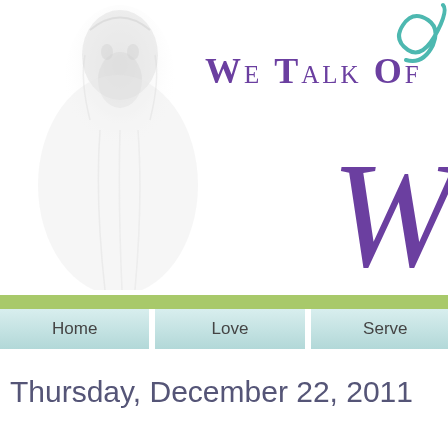[Figure (illustration): Faded white ghost-like image of a robed bearded figure (Jesus) on the left side of the header, with a teal decorative swirl in the top right corner and a large purple letter W on the right.]
We Talk of
W
[Figure (other): Navigation bar with green strip on top and teal gradient buttons: Home, Love, Serve]
Thursday, December 22, 2011